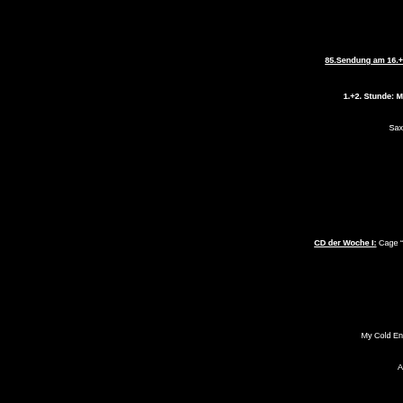85.Sendung am 16.+
1.+2. Stunde: M
Sax
CD der Woche I: Cage “
My Cold En
A